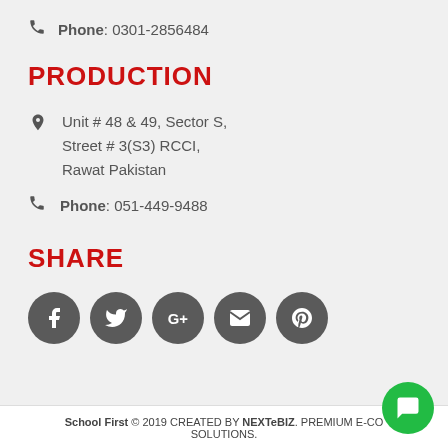Phone: 0301-2856484
PRODUCTION
Unit # 48 & 49, Sector S, Street # 3(S3) RCCI, Rawat Pakistan
Phone: 051-449-9488
SHARE
[Figure (infographic): Five dark grey circular social media icon buttons: Facebook (f), Twitter (bird), Google+ (G+), Email (envelope), Pinterest (P)]
School First © 2019 CREATED BY NEXTeBIZ. PREMIUM E-COMMERCE SOLUTIONS.